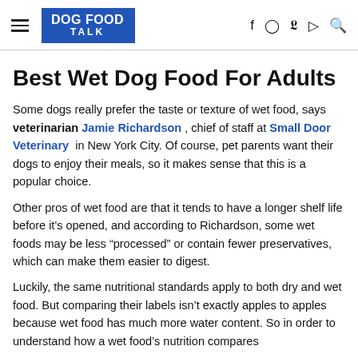DOG FOOD TALK
Best Wet Dog Food For Adults
Some dogs really prefer the taste or texture of wet food, says veterinarian Jamie Richardson, chief of staff at Small Door Veterinary in New York City. Of course, pet parents want their dogs to enjoy their meals, so it makes sense that this is a popular choice.
Other pros of wet food are that it tends to have a longer shelf life before it’s opened, and according to Richardson, some wet foods may be less “processed” or contain fewer preservatives, which can make them easier to digest.
Luckily, the same nutritional standards apply to both dry and wet food. But comparing their labels isn’t exactly apples to apples because wet food has much more water content. So in order to understand how a wet food’s nutrition compares